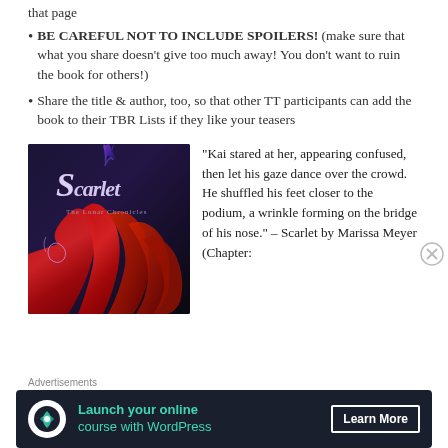that page
BE CAREFUL NOT TO INCLUDE SPOILERS! (make sure that what you share doesn't give too much away! You don't want to ruin the book for others!)
Share the title & author, too, so that other TT participants can add the book to their TBR Lists if they like your teasers
[Figure (photo): Book cover of 'Scarlet: The Lunar Chronicles' showing stylized script title and a figure with flowing red hair against a dark background]
“Kai stared at her, appearing confused, then let his gaze dance over the crowd. He shuffled his feet closer to the podium, a wrinkle forming on the bridge of his nose.” – Scarlet by Marissa Meyer (Chapter:
Advertisements
[Figure (infographic): Advertisement banner: Launch your online course with WordPress. Learn More button.]